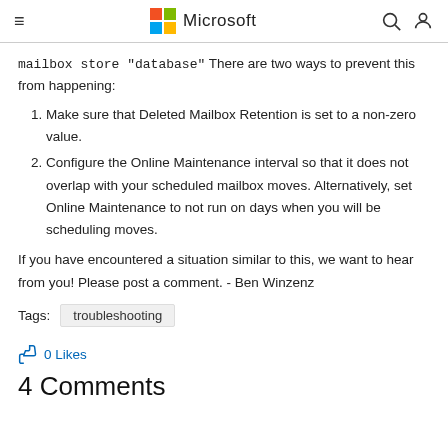Microsoft
mailbox store "database" There are two ways to prevent this from happening:
Make sure that Deleted Mailbox Retention is set to a non-zero value.
Configure the Online Maintenance interval so that it does not overlap with your scheduled mailbox moves. Alternatively, set Online Maintenance to not run on days when you will be scheduling moves.
If you have encountered a situation similar to this, we want to hear from you! Please post a comment. - Ben Winzenz
Tags:  troubleshooting
0 Likes
Comments